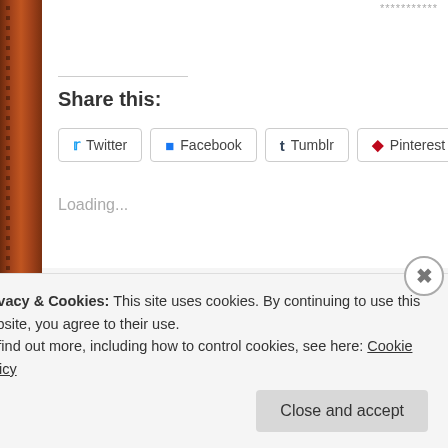***********
Share this:
[Figure (screenshot): Social sharing buttons: Twitter, Facebook, Tumblr, Pinterest, Pocket]
Loading...
Posted by The Crazymad Writer on November 1, 2013 in Alice in Wonderland, Lewis ... children
Tags: Alice, Alice Adventures in Wonderland, aliceinwonderland, Father Christmas, Ha...
Privacy & Cookies: This site uses cookies. By continuing to use this website, you agree to their use.
To find out more, including how to control cookies, see here: Cookie Policy
Close and accept